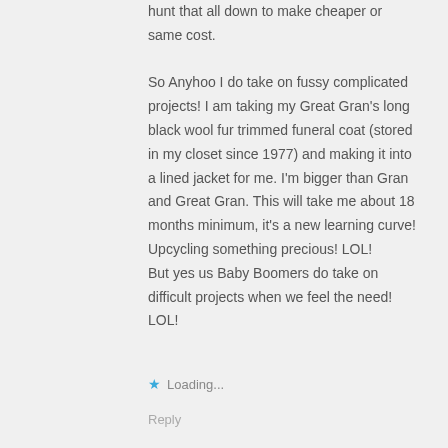hunt that all down to make cheaper or same cost. So Anyhoo I do take on fussy complicated projects! I am taking my Great Gran's long black wool fur trimmed funeral coat (stored in my closet since 1977) and making it into a lined jacket for me. I'm bigger than Gran and Great Gran. This will take me about 18 months minimum, it's a new learning curve! Upcycling something precious! LOL! But yes us Baby Boomers do take on difficult projects when we feel the need! LOL!
Loading...
Reply